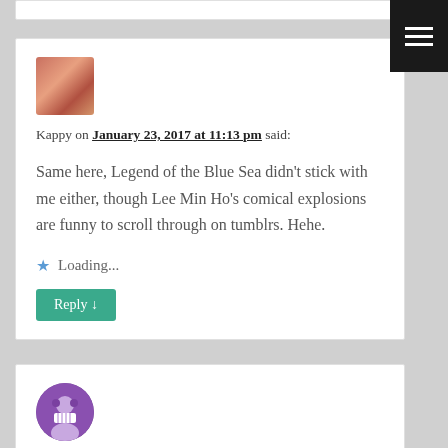Kappy on January 23, 2017 at 11:13 pm said: Same here, Legend of the Blue Sea didn't stick with me either, though Lee Min Ho's comical explosions are funny to scroll through on tumblrs. Hehe.
Loading...
Reply ↓
a on January 23, 2017 at 3:04 pm said: